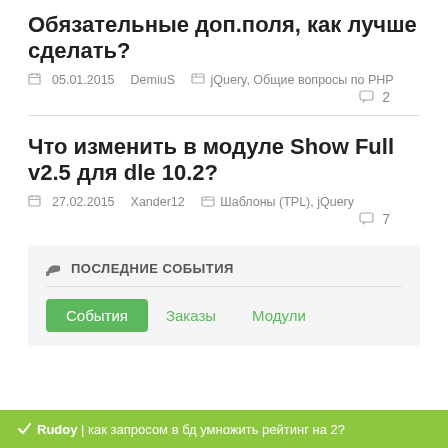Обязательные доп.поля, как лучше сделать?
05.01.2015   DemiuS   jQuery, Общие вопросы по PHP
2
Что изменить в модуле Show Full v2.5 для dle 10.2?
27.02.2015   Xander12   Шаблоны (TPL), jQuery
7
ПОСЛЕДНИЕ СОБЫТИЯ
События   Заказы   Модули
Rudoy | как запросом в бд умножить рейтинг на 2?